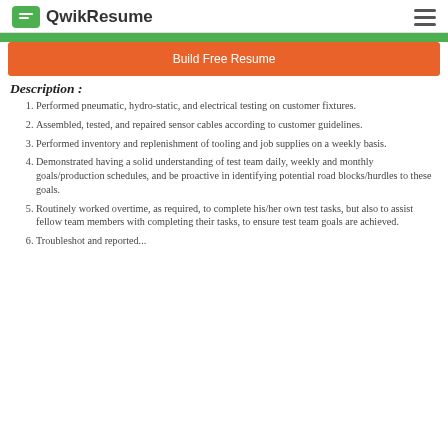QwikResume
Description :
Performed pneumatic, hydro-static, and electrical testing on customer fixtures.
Assembled, tested, and repaired sensor cables according to customer guidelines.
Performed inventory and replenishment of tooling and job supplies on a weekly basis.
Demonstrated having a solid understanding of test team daily, weekly and monthly goals/production schedules, and be proactive in identifying potential road blocks/hurdles to these goals.
Routinely worked overtime, as required, to complete his/her own test tasks, but also to assist fellow team members with completing their tasks, to ensure test team goals are achieved.
Troubleshot and reported...